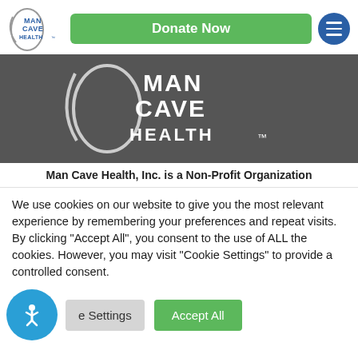[Figure (logo): Man Cave Health logo in header - oval swoosh with MAN CAVE HEALTH text in blue]
[Figure (logo): Donate Now green button]
[Figure (logo): Man Cave Health large white logo on dark grey hero band]
Man Cave Health, Inc. is a Non-Profit Organization
We use cookies on our website to give you the most relevant experience by remembering your preferences and repeat visits. By clicking "Accept All", you consent to the use of ALL the cookies. However, you may visit "Cookie Settings" to provide a controlled consent.
[Figure (other): Accessibility icon button (blue circle with stick figure)]
Cookie Settings
Accept All